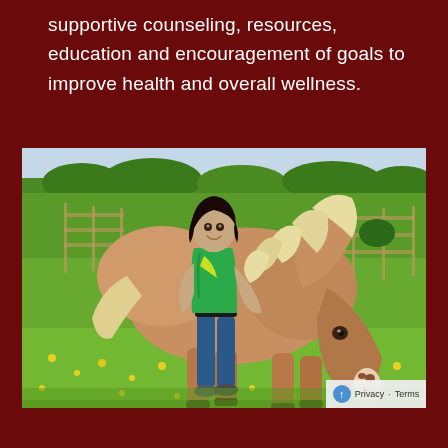supportive counseling, resources, education and encouragement of goals to improve health and overall wellness.
[Figure (photo): A smiling woman with dark hair wearing a green t-shirt and blue jeans hugging a large palomino/Belgian draft horse that is grazing on a green field with yellow wildflowers. Wooden fence visible in background with green pasture and trees.]